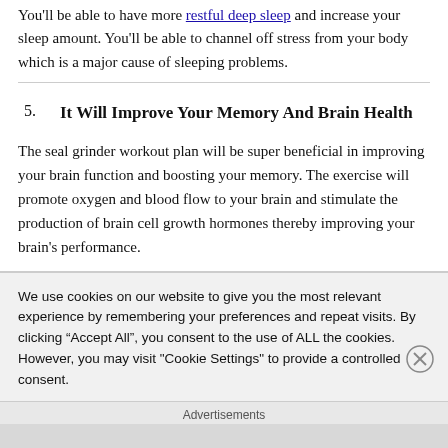You'll be able to have more restful deep sleep and increase your sleep amount. You'll be able to channel off stress from your body which is a major cause of sleeping problems.
5. It Will Improve Your Memory And Brain Health
The seal grinder workout plan will be super beneficial in improving your brain function and boosting your memory. The exercise will promote oxygen and blood flow to your brain and stimulate the production of brain cell growth hormones thereby improving your brain's performance.
We use cookies on our website to give you the most relevant experience by remembering your preferences and repeat visits. By clicking “Accept All”, you consent to the use of ALL the cookies. However, you may visit "Cookie Settings" to provide a controlled consent.
Advertisements